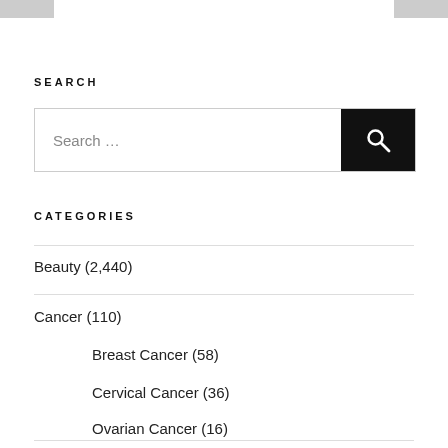SEARCH
Search ...
CATEGORIES
Beauty (2,440)
Cancer (110)
Breast Cancer (58)
Cervical Cancer (36)
Ovarian Cancer (16)